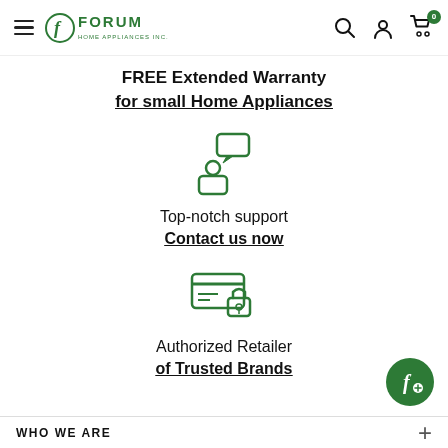Forum Home Appliances Inc. — navigation bar with hamburger menu, logo, search, account, cart (0)
FREE Extended Warranty
for small Home Appliances
[Figure (illustration): Green icon of a person with a speech/chat bubble above, indicating customer support]
Top-notch support
Contact us now
[Figure (illustration): Green icon of a credit card with a padlock, indicating secure/authorized payment]
Authorized Retailer
of Trusted Brands
WHO WE ARE